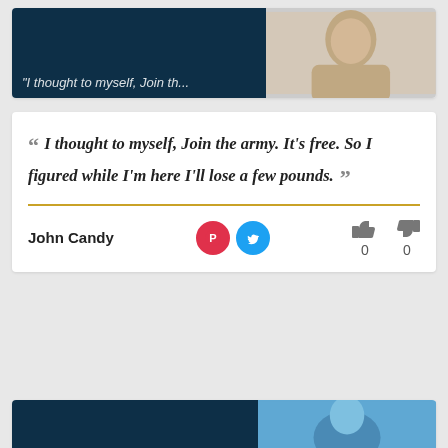[Figure (screenshot): Top partially-visible card with dark navy left panel and person photo on right]
I thought to myself, Join the army. It's free. So I figured while I'm here I'll lose a few pounds.
John Candy
0
0
[Figure (screenshot): Bottom partially-visible card with dark navy left panel and person photo on right]